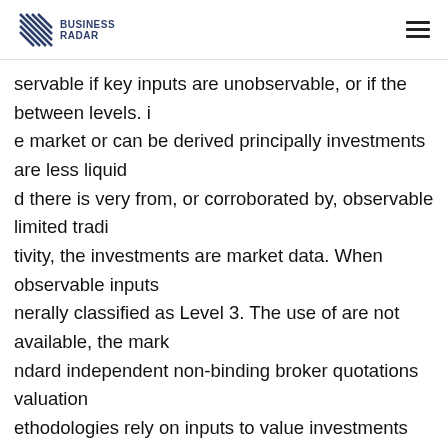Business Radar
servable if key inputs are unobservable, or if the between levels. i e market or can be derived principally investments are less liquid d there is very from, or corroborated by, observable limited tradi tivity, the investments are market data. When observable inputs nerally classified as Level 3. The use of are not available, the mark ndard independent non-binding broker quotations valuation ethodologies rely on inputs to value investments generally dicates that are significant to the estimated fair there is a lack of uidity or a lack of value that are not observable in the market nsparency in the process to develop the or cannot be derived ncipally from, or valuation estimates, generally causing these rroborated by, observable market data. investments to be ssified in Level 3. These unobservable inputs can be based Short- m investments These in large part on management's judgment vestments are principally valued using or estimation and cannot b pported by the market approach. Valuations are based reference market activity. Even though primarily on matrix pricing or other